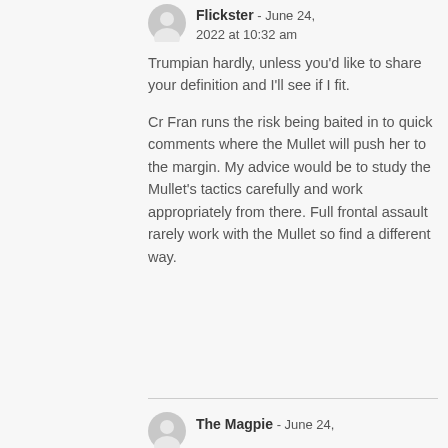Flickster - June 24, 2022 at 10:32 am
Trumpian hardly, unless you'd like to share your definition and I'll see if I fit.

Cr Fran runs the risk being baited in to quick comments where the Mullet will push her to the margin. My advice would be to study the Mullet's tactics carefully and work appropriately from there. Full frontal assault rarely work with the Mullet so find a different way.
The Magpie - June 24,